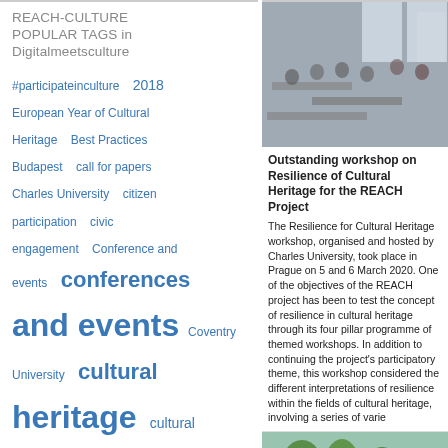REACH-CULTURE POPULAR TAGS in Digitalmeetsculture
#participateinculture  2018  European Year of Cultural Heritage  Best Practices  Budapest  call for papers  Charles University  citizen participation  civic engagement  Conference and events  conferences and events  Coventry University  cultural heritage  cultural participation  digital preservation  Eötvös Loránd University  EU projects  Europa Nostra  European
[Figure (photo): Workshop photo showing people seated in a classroom/conference room setting with tables and laptops, windows in background]
Outstanding workshop on Resilience of Cultural Heritage for the REACH Project
The Resilience for Cultural Heritage workshop, organised and hosted by Charles University, took place in Prague on 5 and 6 March 2020. One of the objectives of the REACH project has been to test the concept of resilience in cultural heritage through its four pillar programme of themed workshops. In addition to continuing the project's participatory theme, this workshop considered the different interpretations of resilience within the fields of cultural heritage, involving a series of varie
[Figure (photo): Outdoor photo showing green trees and landscape, partial view]